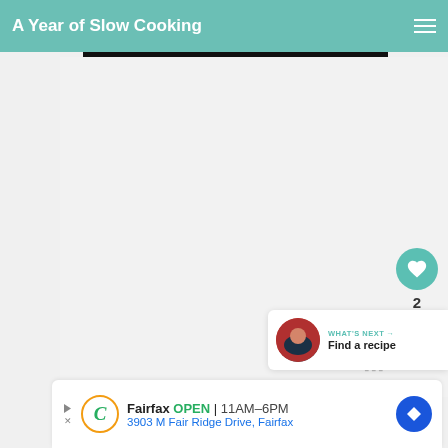A Year of Slow Cooking
[Figure (screenshot): Light grey empty content area below the navigation header, representing a recipe image placeholder]
[Figure (infographic): Floating action buttons: teal heart/like button with count of 2, and a share button with plus icon]
[Figure (infographic): What's Next widget showing a circular thumbnail photo of a person and text 'WHAT'S NEXT → Find a recipe']
[Figure (infographic): Advertisement bar at bottom: play/close controls, circular C logo, Fairfax OPEN 11AM-6PM, 3903 M Fair Ridge Drive Fairfax, blue navigation icon]